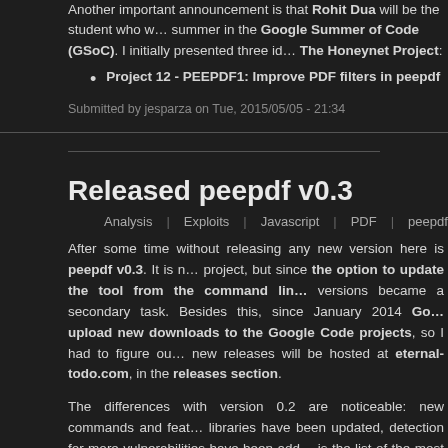Another important announcement is that Rohit Dua will be the student who will work this summer in the Google Summer of Code (GSoC). I initially presented three ideas to The Honeynet Project:
Project 12 - PEEPDF1: Improve PDF filters in peepdf
Submitted by jesparza on Tue, 2015/05/05 - 21:34
Released peepdf v0.3
Analysis | Exploits | Javascript | PDF | peepdf | Shellcode | Tools | Vulnerabilities
After some time without releasing any new version here is peepdf v0.3. It is not a finished project, but since the option to update the tool from the command line versions became a secondary task. Besides this, since January 2014 Google stopped allowing upload new downloads to the Google Code projects, so I had to figure out an alternative. new releases will be hosted at eternal-todo.com, in the releases section.
The differences with version 0.2 are noticeable: new commands and features have been added, libraries have been updated, detection for more vulnerabilities have been added, etc. Here is the list of the most important changes (full changelog here):
Replaced Spidermonkey with PyV8 as the Javascript engine (see wh